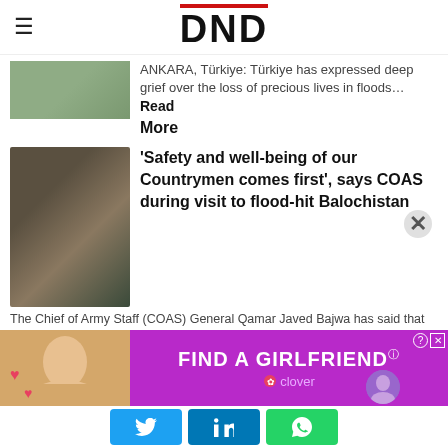DND
ANKARA, Türkiye: Türkiye has expressed deep grief over the loss of precious lives in floods…Read More
'Safety and well-being of our Countrymen comes first', says COAS during visit to flood-hit Balochistan
The Chief of Army Staff (COAS) General Qamar Javed Bajwa has said that the safety…Read More
Pakistan Army accelerates flood
[Figure (screenshot): Advertisement banner: FIND A GIRLFRIEND, Clover app]
[Figure (screenshot): Social sharing bar with Twitter, LinkedIn, and WhatsApp buttons]